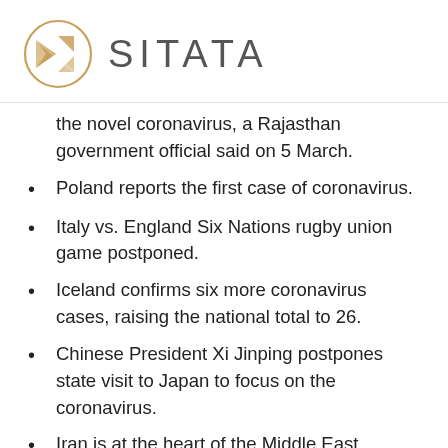[Figure (logo): Sitata logo: a circular golden geometric emblem with triangular shapes, followed by the text 'SITATA' in gray sans-serif letters]
the novel coronavirus, a Rajasthan government official said on 5 March.
Poland reports the first case of coronavirus.
Italy vs. England Six Nations rugby union game postponed.
Iceland confirms six more coronavirus cases, raising the national total to 26.
Chinese President Xi Jinping postpones state visit to Japan to focus on the coronavirus.
Iran is at the heart of the Middle East coronavirus outbreak; the country has reported more than 3,000 cases and 92